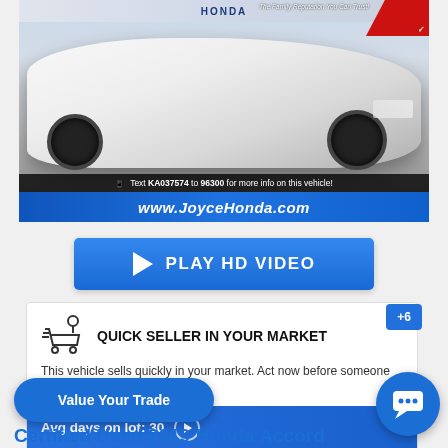[Figure (photo): White Honda Accord sedan photographed at a Honda dealership lot. Bottom overlay reads: Text KA037574 to 96300 for more info on this vehicle! Below the photo is a blue banner with www.JoyceHonda.com]
[Figure (other): Blue button with play triangle icon and text PLAY HD VIDEO]
[Figure (infographic): Quick Seller in Your Market card with shopping cart icon, +6 badge, body text about vehicle selling quickly, Avg days on lot: 30 bar, and Powered by TradePending logo]
Value Your Trade
Certified Used 2019 Honda Accord